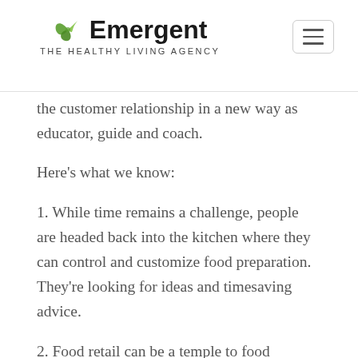Emergent — THE HEALTHY LIVING AGENCY
the customer relationship in a new way as educator, guide and coach.
Here's what we know:
1. While time remains a challenge, people are headed back into the kitchen where they can control and customize food preparation. They're looking for ideas and timesaving advice.
2. Food retail can be a temple to food experience or four-walled pantry. Experience now matters as much as the